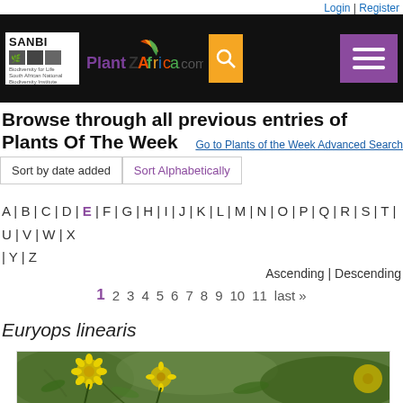Login | Register
[Figure (logo): SANBI and PlantZAfrica.com header logo with search and menu buttons]
Browse through all previous entries of Plants Of The Week
Go to Plants of the Week Advanced Search
Sort by date added | Sort Alphabetically
A | B | C | D | E | F | G | H | I | J | K | L | M | N | O | P | Q | R | S | T | U | V | W | X | Y | Z
Ascending | Descending
1 2 3 4 5 6 7 8 9 10 11 last »
Euryops linearis
[Figure (photo): Photo of Euryops linearis plant with yellow daisy-like flowers against green foliage background]